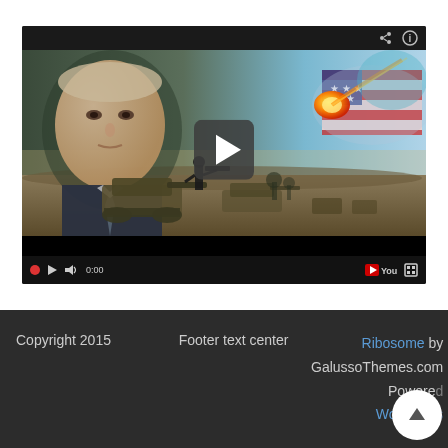[Figure (screenshot): Embedded YouTube video player showing a composite image of a man in a suit (resembling a political figure) on the left, military tanks and soldiers in the foreground, an American flag on the right, and a fireball/meteor in the sky. The video player has a dark top bar with share/info icons, a large play button overlay in the center, and a bottom control bar showing play, volume, time (0:00), YouTube logo, and fullscreen button.]
Copyright 2015   Footer text center   Ribosome by GalussoThemes.com Powered WordPress